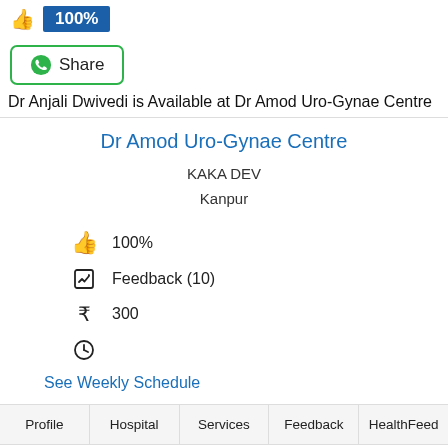👍 100%
Share
Dr Anjali Dwivedi is Available at Dr Amod Uro-Gynae Centre
Dr Amod Uro-Gynae Centre
KAKA DEV
Kanpur
👍 100%
Feedback (10)
₹ 300
See Weekly Schedule
Profile | Hospital | Services | Feedback | HealthFeed